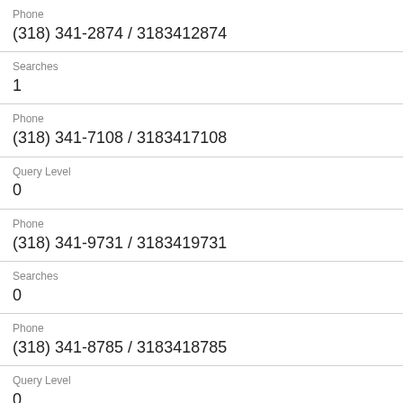Phone
(318) 341-2874 / 3183412874
Searches
1
Phone
(318) 341-7108 / 3183417108
Query Level
0
Phone
(318) 341-9731 / 3183419731
Searches
0
Phone
(318) 341-8785 / 3183418785
Query Level
0
Phone
(318) 341-1578 / 3183411578
Searches